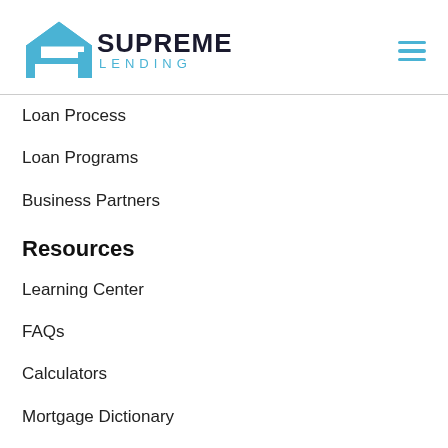Supreme Lending
Loan Process
Loan Programs
Business Partners
Resources
Learning Center
FAQs
Calculators
Mortgage Dictionary
Company
About Us